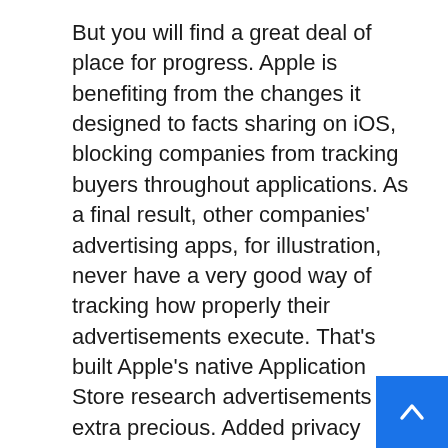But you will find a great deal of place for progress. Apple is benefiting from the changes it designed to facts sharing on iOS, blocking companies from tracking buyers throughout applications. As a final result, other companies' advertising apps, for illustration, never have a very good way of tracking how properly their advertisements execute. That's built Apple's native Application Store research advertisements extra precious. Added privacy improvements could more profit Apple's own advertisement services around 3rd-social gathering advertisements.
But Apple's also diving into video clip advertising and marketing. It can be now streaming Signif League Baseball game titles on Friday nights b Apple Television+, and that written content